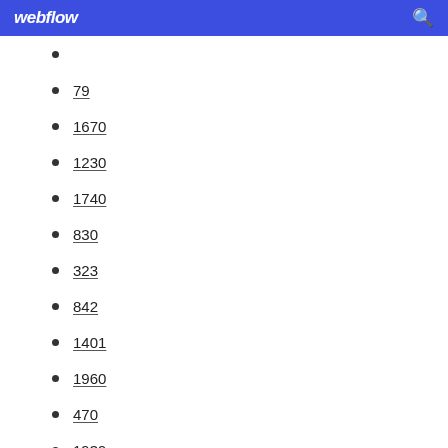webflow
79
1670
1230
1740
830
323
842
1401
1960
470
1939
531